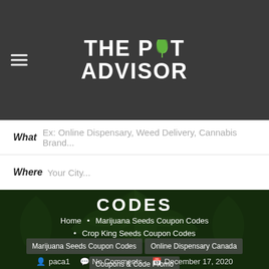THE POT ADVISOR
What  Ex: Online Dispensary, Weed Delivery, Cannabis Brand...
Where  Your City...
CODES
Home • Marijuana Seeds Coupon Codes
• Crop King Seeds Coupon Codes
Marijuana Seeds Coupon Codes  Online Dispensary Canada Coupons & Code Promo
paca1  No Comments  December 17, 2020